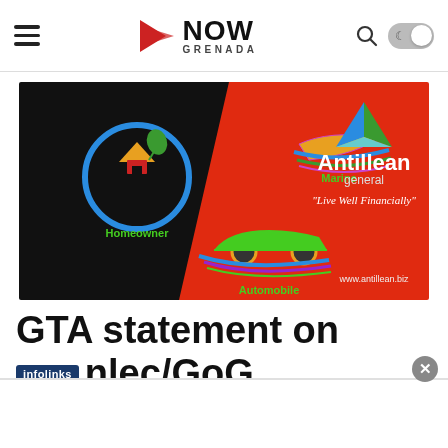NOW GRENADA — navigation bar with hamburger menu, logo, search icon, dark mode toggle
[Figure (illustration): Antillean General insurance advertisement banner. Black background on left with colorful icons: Homeowner (house with sunrise and plant), Marine (speedboat), Automobile (green car with swoosh lines). Right half is red with Antillean General logo (triangle in green/blue/teal), tagline 'Live Well Financially', and website www.antillean.biz]
GTA statement on nlec/GoG
infolinks